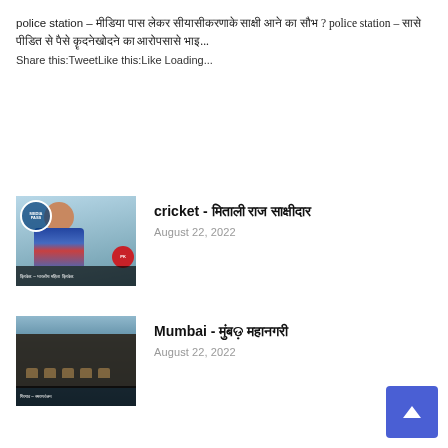police station – [Hindi text] police station – [Hindi text] Share this:TweetLike this:Like Loading...
[Figure (photo): Thumbnail photo of a female cricket player with a media pass, with Hindi text label at bottom]
cricket - [Hindi text]
August 22, 2022
[Figure (photo): Thumbnail photo of a building in Mumbai (Girgaon area) with Hindi text label at bottom]
Mumbai - [Hindi text]
August 22, 2022